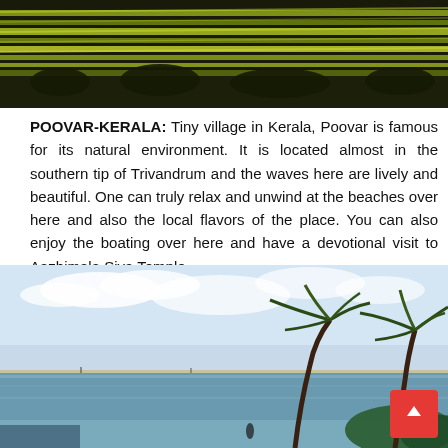[Figure (photo): Aerial view of terraced green and yellow rice fields or agricultural landscape from above, dark trees visible.]
POOVAR-KERALA: Tiny village in Kerala, Poovar is famous for its natural environment. It is located almost in the southern tip of Trivandrum and the waves here are lively and beautiful. One can truly relax and unwind at the beaches over here and also the local flavors of the place. You can also enjoy the boating over here and have a devotional visit to Aazhimala Siva Temple.
[Figure (photo): Beach scene with palm trees leaning over calm water, blue sky with clouds, and a spit of land or sandbar in the background. A person stands near the water's edge.]